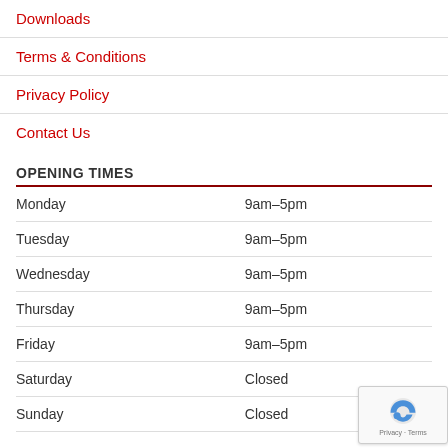Downloads
Terms & Conditions
Privacy Policy
Contact Us
OPENING TIMES
| Day | Hours |
| --- | --- |
| Monday | 9am–5pm |
| Tuesday | 9am–5pm |
| Wednesday | 9am–5pm |
| Thursday | 9am–5pm |
| Friday | 9am–5pm |
| Saturday | Closed |
| Sunday | Closed |